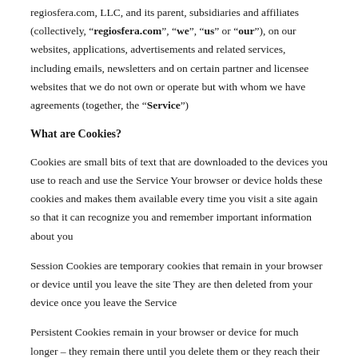regiosfera.com, LLC, and its parent, subsidiaries and affiliates (collectively, "regiosfera.com", "we", "us" or "our"), on our websites, applications, advertisements and related services, including emails, newsletters and on certain partner and licensee websites that we do not own or operate but with whom we have agreements (together, the "Service")
What are Cookies?
Cookies are small bits of text that are downloaded to the devices you use to reach and use the Service Your browser or device holds these cookies and makes them available every time you visit a site again so that it can recognize you and remember important information about you
Session Cookies are temporary cookies that remain in your browser or device until you leave the site They are then deleted from your device once you leave the Service
Persistent Cookies remain in your browser or device for much longer – they remain there until you delete them or they reach their expiry date